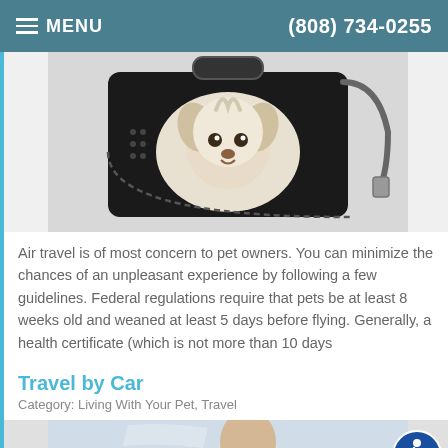MENU | (808) 734-0255
[Figure (photo): A small fluffy white dog looking out from a black pet travel carrier with a round mesh window and zipper closures]
Air travel is of most concern to pet owners. You can minimize the chances of an unpleasant experience by following a few guidelines. Federal regulations require that pets be at least 8 weeks old and weaned at least 5 days before flying. Generally, a health certificate (which is not more than 10 days
Read more
Travel by Car
Category: Living With Your Pet, Travel
[Figure (photo): Partial view of a person in a car, travel by car scene]